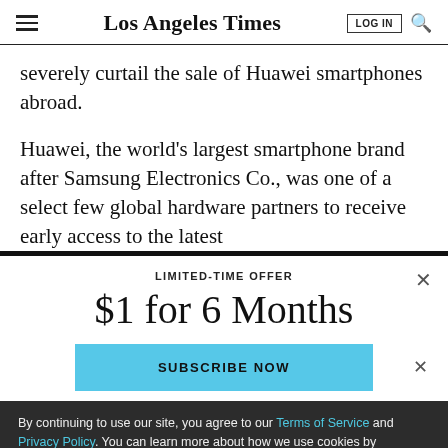Los Angeles Times
severely curtail the sale of Huawei smartphones abroad.
Huawei, the world's largest smartphone brand after Samsung Electronics Co., was one of a select few global hardware partners to receive early access to the latest
LIMITED-TIME OFFER
$1 for 6 Months
SUBSCRIBE NOW
By continuing to use our site, you agree to our Terms of Service and Privacy Policy. You can learn more about how we use cookies by reviewing our Privacy Policy. Close